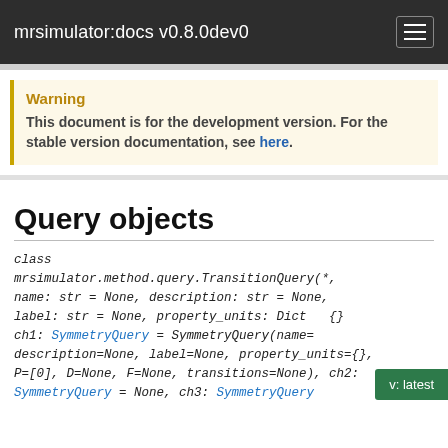mrsimulator:docs v0.8.0dev0
Warning
This document is for the development version. For the stable version documentation, see here.
Query objects
class mrsimulator.method.query.TransitionQuery(*, name: str = None, description: str = None, label: str = None, property_units: Dict[...], ch1: SymmetryQuery = SymmetryQuery(name=..., description=None, label=None, property_units={}, P=[0], D=None, F=None, transitions=None), ch2: SymmetryQuery = None, ch3: SymmetryQuery